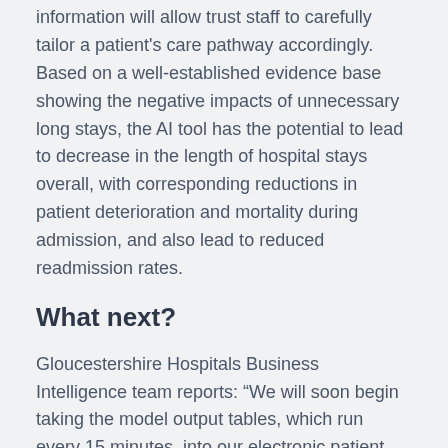information will allow trust staff to carefully tailor a patient's care pathway accordingly. Based on a well-established evidence base showing the negative impacts of unnecessary long stays, the AI tool has the potential to lead to decrease in the length of hospital stays overall, with corresponding reductions in patient deterioration and mortality during admission, and also lead to reduced readmission rates.
What next?
Gloucestershire Hospitals Business Intelligence team reports: “We will soon begin taking the model output tables, which run every 15 minutes, into our electronic patient record system to test and evaluate with clinicians.”
The Skunkworks team will continue to support Gloucestershire Hospitals with how to further test and evaluate the model, and adopt it safely into wider